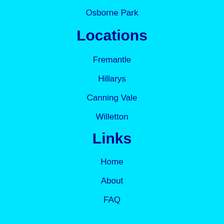Osborne Park
Locations
Fremantle
Hillarys
Canning Vale
Willetton
Links
Home
About
FAQ